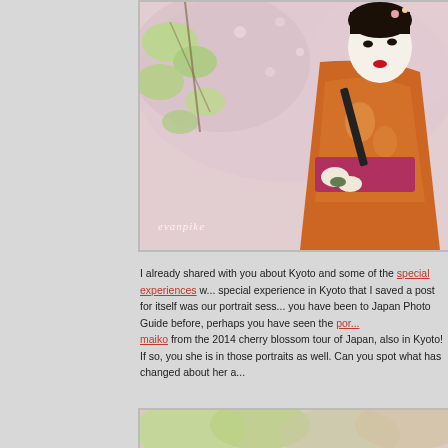[Figure (photo): A maiko (apprentice geisha) in an orange kimono with floral patterns, holding a black accessory, standing among cherry blossom trees with soft pink blossoms and green spring leaves. Watermark reads 'evanpike'.]
I already shared with you about Kyoto and some of the special experiences w... special experience in Kyoto that I saved a post for itself was our portrait sess... you have been to Japan Photo Guide before, perhaps you have seen the por... maiko from the 2014 cherry blossom tour of Japan, also in Kyoto! If so, you she is in those portraits as well. Can you spot what has changed about her a...
[Figure (photo): Partial view of a second photo showing cherry blossoms and green spring foliage, similar setting to the top photo.]